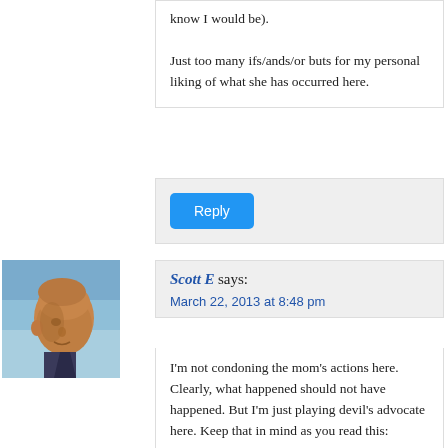know I would be).

Just too many ifs/ands/or buts for my personal liking of what she has occurred here.
Reply
Scott E says:
March 22, 2013 at 8:48 pm
[Figure (photo): Avatar/profile photo of Scott E, a bald man photographed from a low angle against a sky background.]
I'm not condoning the mom's actions here. Clearly, what happened should not have happened. But I'm just playing devil's advocate here. Keep that in mind as you read this:

There are plenty of people with diabetes – even adults – who are in denial about their diabetes. They pretend it's not there because they just want to live a normal life. Maybe they don't know the consequences, maybe the desire to be "normal" outranks the will to take care for themselves. Sometimes these people need mental-health counseling to